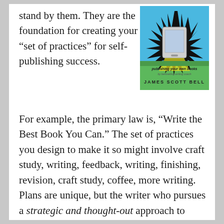stand by them. They are the foundation for creating your own “set of practices” for self-publishing success.
[Figure (illustration): Book cover: a self-publishing guide showing an e-reader device on a green and blue background with the text 'publishing your own books' and author name 'JAMES SCOTT BELL']
For example, the primary law is, “Write the Best Book You Can.” The set of practices you design to make it so might involve craft study, writing, feedback, writing, finishing, revision, craft study, coffee, more writing. Plans are unique, but the writer who pursues a strategic and thought-out approach to getting better is more likely to win in the end.